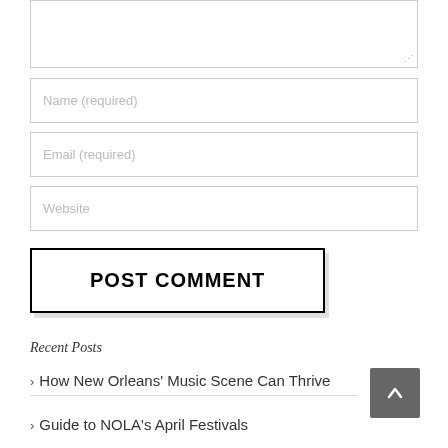[Figure (screenshot): Textarea input box with resize handle at bottom-right]
[Figure (screenshot): Name (required) text input field]
[Figure (screenshot): Email (required) text input field]
[Figure (screenshot): Website text input field]
[Figure (screenshot): POST COMMENT button with bold black text and black border]
Recent Posts
How New Orleans' Music Scene Can Thrive
Guide to NOLA's April Festivals